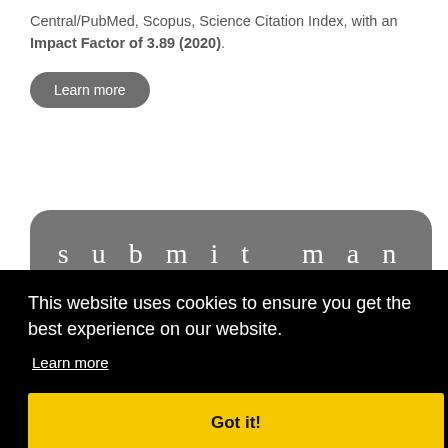Central/PubMed, Scopus, Science Citation Index, with an Impact Factor of 3.89 (2020).
[Figure (other): Learn more button — rounded dark grey pill button with white text]
[Figure (other): Submit manuscript — large rounded dark grey banner with spaced white serif text]
This website uses cookies to ensure you get the best experience on our website.
Learn more
[Figure (other): Got it! — yellow call-to-action button with bold black text]
Kimchi improves irritable bowel syndrome: results of a